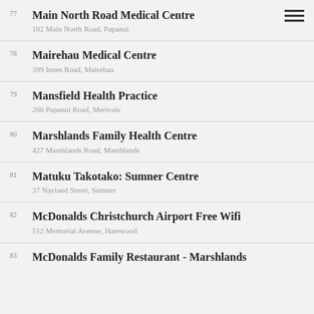77 Main North Road Medical Centre
102 Main North Road, Papanui
78 Mairehau Medical Centre
399 Innes Road, Mairehau
79 Mansfield Health Practice
206 Papanui Road, Merivale
80 Marshlands Family Health Centre
427 Marshlands Road, Marshlands
81 Matuku Takotako: Sumner Centre
37 Nayland Street, Sumner
82 McDonalds Christchurch Airport Free Wifi
512 Memorial Avenue, Harewood
83 McDonalds Family Restaurant - Marshlands